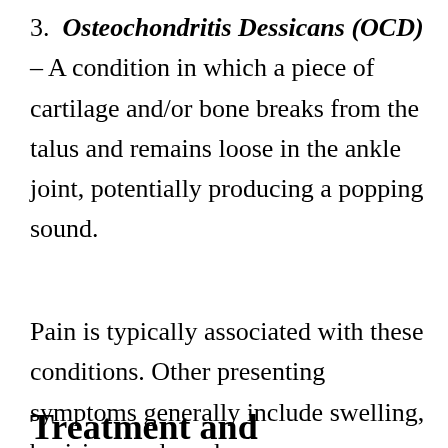3. Osteochondritis Dessicans (OCD) – A condition in which a piece of cartilage and/or bone breaks from the talus and remains loose in the ankle joint, potentially producing a popping sound.
Pain is typically associated with these conditions. Other presenting symptoms generally include swelling, bruising, and weakness.
Treatment and